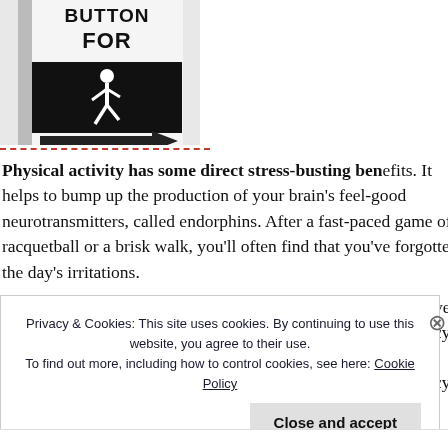[Figure (photo): Black and white photo of a pedestrian crossing sign showing 'BUTTON FOR' text with a walking person icon and an arrow pointing right.]
Physical activity has some direct stress-busting benefits. It helps to bump up the production of your brain's feel-good neurotransmitters, called endorphins. After a fast-paced game of racquetball or a brisk walk, you'll often find that you've forgotten the day's irritations.
Privacy & Cookies: This site uses cookies. By continuing to use this website, you agree to their use.
To find out more, including how to control cookies, see here: Cookie Policy
Close and accept